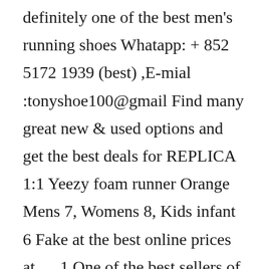definitely one of the best men's running shoes Whatapp: + 852 5172 1939 (best) ,E-mial :tonyshoe100@gmail Find many great new & used options and get the best deals for REPLICA 1:1 Yeezy foam runner Orange Mens 7, Womens 8, Kids infant 6 Fake at the best online prices at … 1 One of the best sellers of fake yeezy Neutral monochromatic finishes and its sculpted lines give off a futuristic aesthetic, while a series of oval cut-outs enable Adidas Yeezy